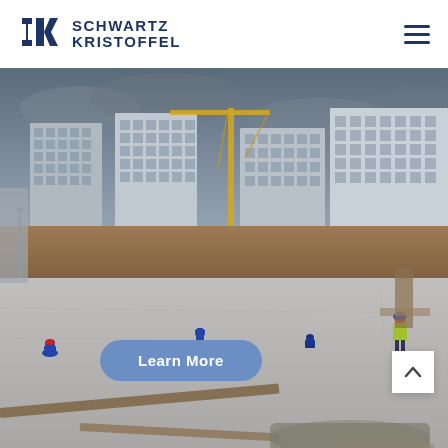[Figure (logo): Schwartz Kristoffel company logo with stylized SK monogram in blue and company name text]
[Figure (photo): Construction site with workers on a concrete slab, cranes, and modern high-rise buildings in the background under an overcast sky]
Learn More
[Figure (other): Scroll-up chevron button in white box at bottom right]